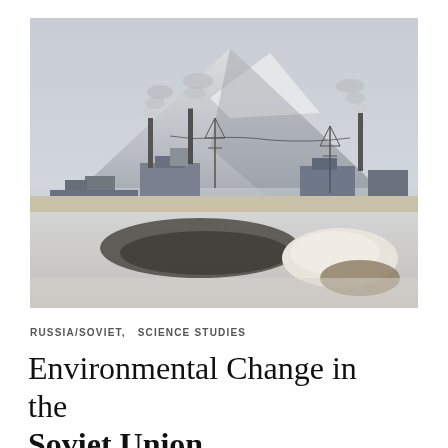[Figure (photo): Industrial landscape in winter showing factory smokestacks emitting smoke, power line towers, industrial buildings, and a large snow-covered mountain in the background. The foreground shows a frozen or snow-covered flat area with a dark patch and a mound of snow/earth to the right.]
RUSSIA/SOVIET,  SCIENCE STUDIES
Environmental Change in the Soviet Union